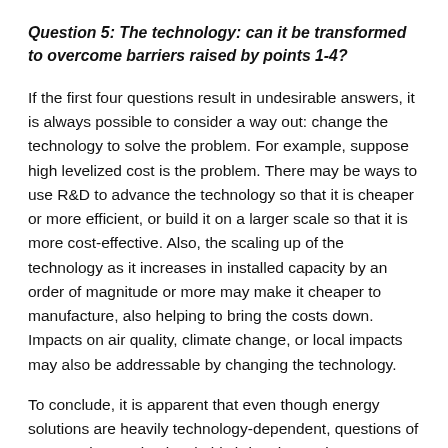Question 5: The technology: can it be transformed to overcome barriers raised by points 1-4?
If the first four questions result in undesirable answers, it is always possible to consider a way out: change the technology to solve the problem. For example, suppose high levelized cost is the problem. There may be ways to use R&D to advance the technology so that it is cheaper or more efficient, or build it on a larger scale so that it is more cost-effective. Also, the scaling up of the technology as it increases in installed capacity by an order of magnitude or more may make it cheaper to manufacture, also helping to bring the costs down. Impacts on air quality, climate change, or local impacts may also be addressable by changing the technology.
To conclude, it is apparent that even though energy solutions are heavily technology-dependent, questions of systems integration inevitably bring the engineer-technologist out of the